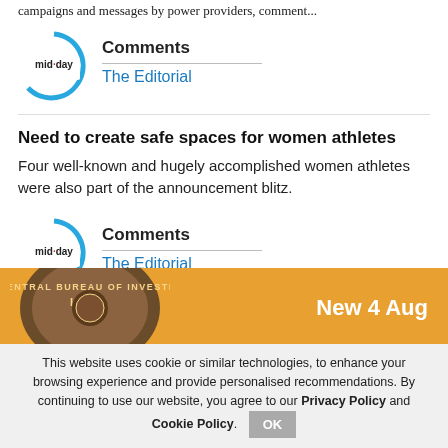campaigns and messages by power providers, comment...
[Figure (logo): mid-day logo in circular arc design]
Comments
The Editorial
Need to create safe spaces for women athletes
Four well-known and hugely accomplished women athletes were also part of the announcement blitz.
[Figure (logo): mid-day logo in circular arc design]
Comments
The Editorial
[Figure (other): Banner showing Central Bureau of Investigation seal with text 'New 4 Aug' on orange background]
This website uses cookie or similar technologies, to enhance your browsing experience and provide personalised recommendations. By continuing to use our website, you agree to our Privacy Policy and Cookie Policy.